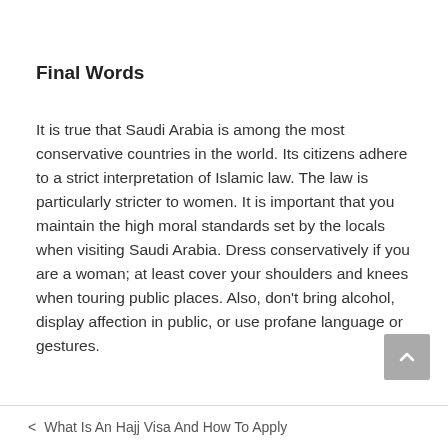Final Words
It is true that Saudi Arabia is among the most conservative countries in the world. Its citizens adhere to a strict interpretation of Islamic law. The law is particularly stricter to women. It is important that you maintain the high moral standards set by the locals when visiting Saudi Arabia. Dress conservatively if you are a woman; at least cover your shoulders and knees when touring public places. Also, don’t bring alcohol, display affection in public, or use profane language or gestures.
< What Is An Hajj Visa And How To Apply